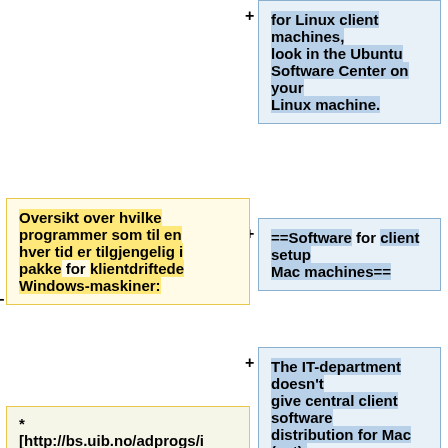for Linux client machines, look in the Ubuntu Software Center on your Linux machine.
Oversikt over hvilke programmer som til en hver tid er tilgjengelig i pakke for klientdriftede Windows-maskiner:
==Software for client setup Mac machines==
The IT-department doesn't give central client software distribution for Mac (yet). Therefore the software needs to be installed manually on Mac.
* [http://bs.uib.no/adprogs/i